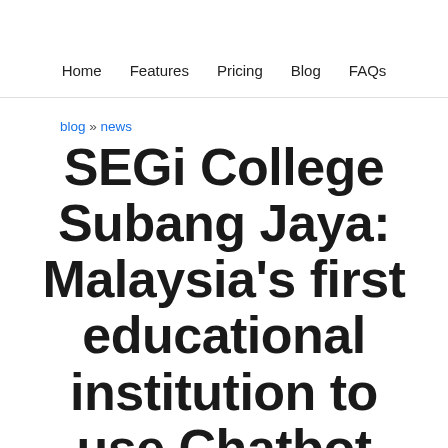Home   Features   Pricing   Blog   FAQs
blog » news
SEGi College Subang Jaya: Malaysia's first educational institution to use Chatbot